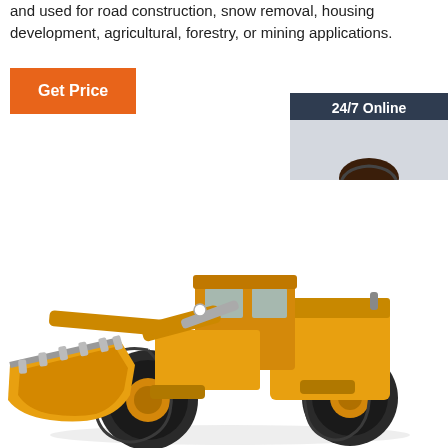and used for road construction, snow removal, housing development, agricultural, forestry, or mining applications.
[Figure (illustration): Orange 'Get Price' button]
[Figure (infographic): 24/7 Online chat box with female agent wearing headset, 'Click here for free chat!' text, and orange QUOTATION button]
[Figure (photo): Yellow wheel loader / front-end loader construction vehicle on white background]